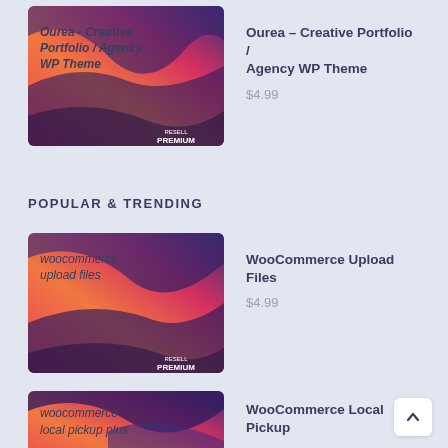[Figure (illustration): Thumbnail image for Ourea Creative Portfolio Agency WP Theme with colorful abstract wave design and RESELL PREMIUM badge, partially cropped at top]
Ourea - Creative Portfolio / Agency WP Theme
$4.99
POPULAR & TRENDING
[Figure (illustration): Thumbnail image for WooCommerce Upload Files plugin with colorful abstract wave design and RESELL PREMIUM badge]
WooCommerce Upload Files
$4.99
[Figure (illustration): Thumbnail image for WooCommerce Local Pickup Plus plugin with colorful abstract wave design, partially cropped at bottom]
WooCommerce Local Pickup